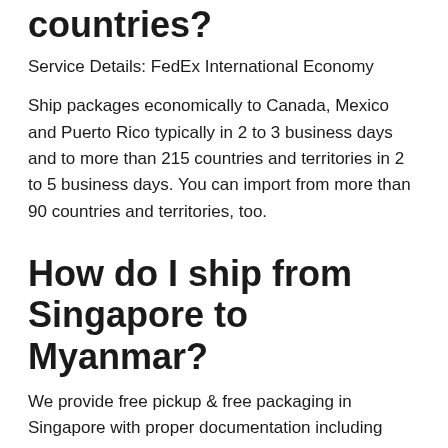countries?
Service Details: FedEx International Economy
Ship packages economically to Canada, Mexico and Puerto Rico typically in 2 to 3 business days and to more than 215 countries and territories in 2 to 5 business days. You can import from more than 90 countries and territories, too.
How do I ship from Singapore to Myanmar?
We provide free pickup & free packaging in Singapore with proper documentation including secure transit during shipping to Myanmar.